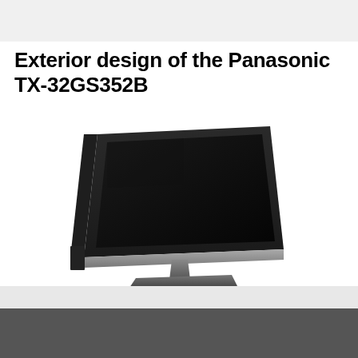Exterior design of the Panasonic TX-32GS352B
[Figure (photo): Front-angled view of a Panasonic TX-32GS352B flat-screen television with black bezel and silver/metallic stand, screen showing black/off state]